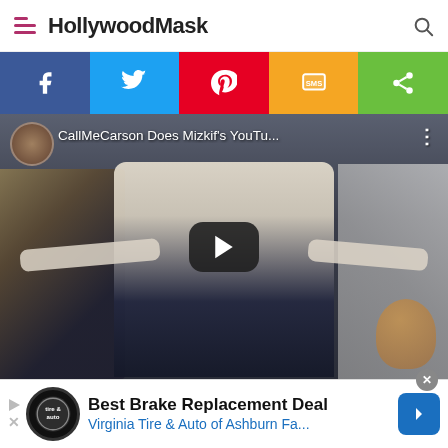HollywoodMask
[Figure (screenshot): Social share buttons bar: Facebook (blue), Twitter (light blue), Pinterest (red), SMS (orange/yellow), Share (green)]
[Figure (screenshot): YouTube-style video player showing 'CallMeCarson Does Mizkif's YouTu...' with a person in a white hoodie with arms spread wide in a room with shelves and a teddy bear. A play button is centered on the video.]
[Figure (screenshot): Advertisement banner: 'Best Brake Replacement Deal — Virginia Tire & Auto of Ashburn Fa...' with tire & auto logo and navigation arrow icon]